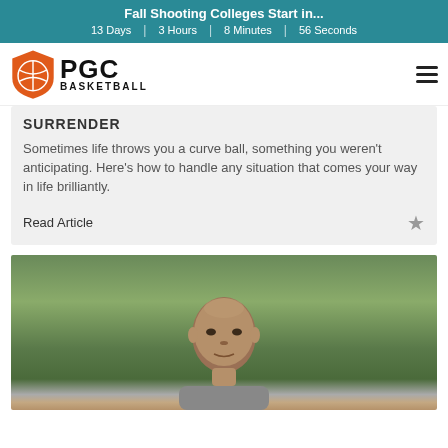Fall Shooting Colleges Start in... 13 Days | 3 Hours | 8 Minutes | 56 Seconds
[Figure (logo): PGC Basketball logo with orange shield/basketball icon and PGC Basketball text]
SURRENDER
Sometimes life throws you a curve ball, something you weren't anticipating. Here's how to handle any situation that comes your way in life brilliantly.
Read Article
[Figure (photo): Portrait photo of a bald man outdoors with trees in the background]